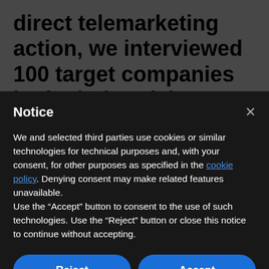direct telemarketing action, we interviewed 100 target companies in the industrial sector to understand the real positioning of this brand and its products. The result showed that
Notice
We and selected third parties use cookies or similar technologies for technical purposes and, with your consent, for other purposes as specified in the cookie policy. Denying consent may make related features unavailable.
Use the "Accept" button to consent to the use of such technologies. Use the "Reject" button or close this notice to continue without accepting.
Reject
Accept
Learn more and customize